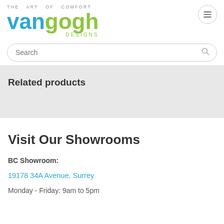THE ART OF COMFORT van gogh DESIGNS
Search
Related products
Visit Our Showrooms
BC Showroom:
19178 34A Avenue, Surrey
Monday - Friday: 9am to 5pm